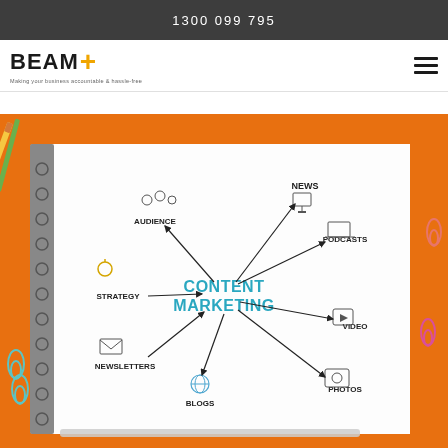1300 099 795
[Figure (logo): BEAM logo with orange accent mark and tagline beneath]
[Figure (photo): Content marketing infographic on a spiral notebook showing topics: News, Podcasts, Video, Photos, Blogs, Newsletters, Strategy, Audience, surrounded by pencils and paper clips on an orange background]